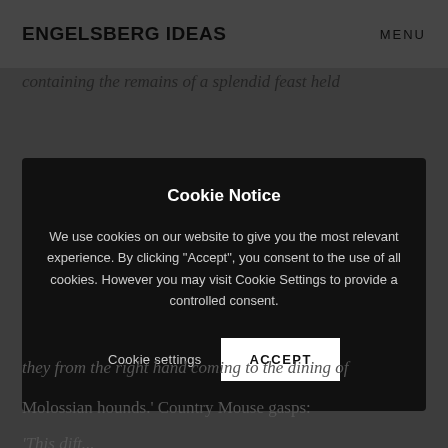ENGELSBERG IDEAS   MENU
containing the remains of a splendid feast held
[Figure (screenshot): Cookie consent modal overlay on a dark semi-transparent background. Contains title 'Cookie Notice', body text about cookie usage, and two action buttons: 'Cookie settings' and 'ACCEPT'.]
they from the right hand coming to the dining of Molossian hounds.' Country Mouse gasps:
'This dift...